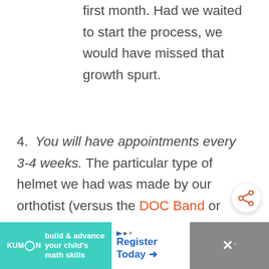first month. Had we waited to start the process, we would have missed that growth spurt.
4. You will have appointments every 3-4 weeks. The particular type of helmet we had was made by our orthotist (versus the DOC Band or
[Figure (other): Share/forward icon button in a white circle]
[Figure (other): Advertisement banner: Kumon build & advance your child's math skills / Register Today arrow]